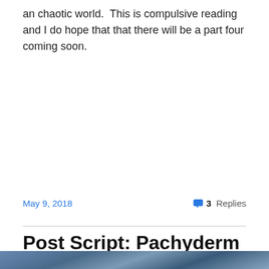an chaotic world.  This is compulsive reading and I do hope that that there will be a part four coming soon.
May 9, 2018   3 Replies
Post Script: Pachyderm – Hugh McGinlay
[Figure (photo): Partial photograph visible at bottom of page, dark toned image]